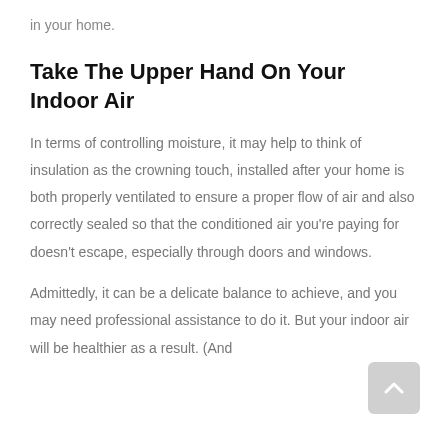in your home.
Take The Upper Hand On Your Indoor Air
In terms of controlling moisture, it may help to think of insulation as the crowning touch, installed after your home is both properly ventilated to ensure a proper flow of air and also correctly sealed so that the conditioned air you're paying for doesn't escape, especially through doors and windows.
Admittedly, it can be a delicate balance to achieve, and you may need professional assistance to do it. But your indoor air will be healthier as a result. (And